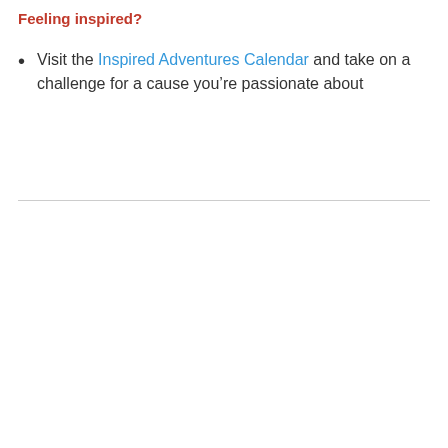Feeling inspired?
Visit the Inspired Adventures Calendar and take on a challenge for a cause you're passionate about